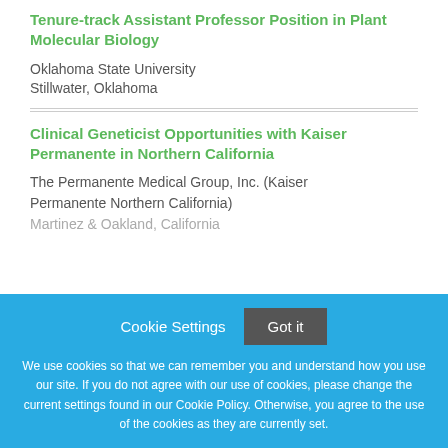Tenure-track Assistant Professor Position in Plant Molecular Biology
Oklahoma State University
Stillwater, Oklahoma
Clinical Geneticist Opportunities with Kaiser Permanente in Northern California
The Permanente Medical Group, Inc. (Kaiser Permanente Northern California)
We use cookies so that we can remember you and understand how you use our site. If you do not agree with our use of cookies, please change the current settings found in our Cookie Policy. Otherwise, you agree to the use of the cookies as they are currently set.